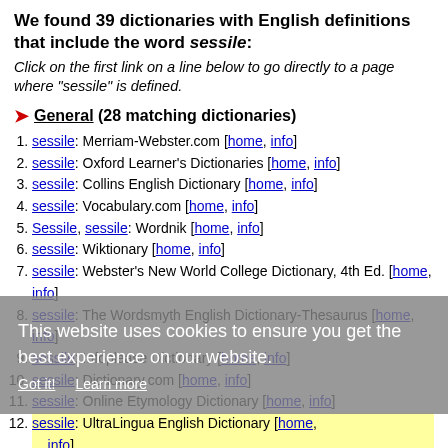We found 39 dictionaries with English definitions that include the word sessile:
Click on the first link on a line below to go directly to a page where "sessile" is defined.
General (28 matching dictionaries)
sessile: Merriam-Webster.com [home, info]
sessile: Oxford Learner's Dictionaries [home, info]
sessile: Collins English Dictionary [home, info]
sessile: Vocabulary.com [home, info]
Sessile, sessile: Wordnik [home, info]
sessile: Wiktionary [home, info]
sessile: Webster's New World College Dictionary, 4th Ed. [home, info]
sessile: The Wordsmyth English Dictionary-Thesaurus [home, info]
sessile: Infoplease Dictionary [home, info]
sessile: Dictionary.com [home, info]
sessile: Online Etymology Dictionary [home, info]
sessile: UltraLingua English Dictionary [home, info]
Sessile (botany), Sessile: Wikipedia, the Free Encyclopedia [home, info]
Sessile: Online Plain Text English Dictio...